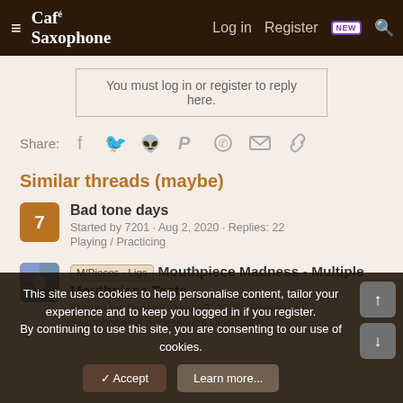Café Saxophone — Log in  Register  NEW  Search
You must log in or register to reply here.
Share: (facebook) (twitter) (reddit) (pinterest) (whatsapp) (email) (link)
Similar threads (maybe)
Bad tone days — Started by 7201 · Aug 2, 2020 · Replies: 22 — Playing / Practicing
[M/Pieces - Ligs] Mouthpiece Madness - Multiple Mouthpiece Tests — Started by Jmoen3 · Nov 12, 2020 · Replies: 11 — Saxophones & Accessories Discussion
This site uses cookies to help personalise content, tailor your experience and to keep you logged in if you register. By continuing to use this site, you are consenting to our use of cookies.